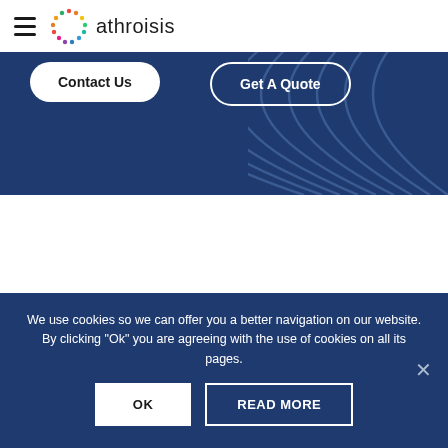athroisis
[Figure (screenshot): Dark blue hero banner with Contact Us and Get A Quote buttons, and decorative concentric arc pattern on the right]
DO YOU HAVE A PROJECT IN MIND?
We use cookies so we can offer you a better navigation on our website. By clicking "Ok" you are agreeing with the use of cookies on all its pages.
OK  READ MORE